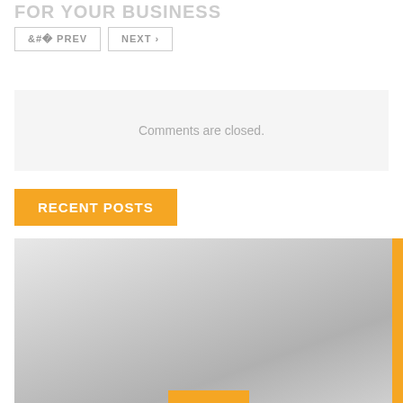FOR YOUR BUSINESS
< PREV   NEXT >
Comments are closed.
RECENT POSTS
[Figure (photo): Gray gradient image area with orange accent bar on right edge and orange bar at bottom center]